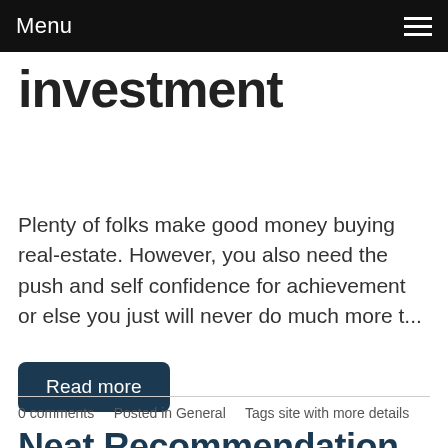Menu
investment
Plenty of folks make good money buying real-estate. However, you also need the push and self confidence for achievement or else you just will never do much more t...
Read more
0 comments   Posted in General   Tags site with more details
Neat Recommendation About Your Favourite Video Video